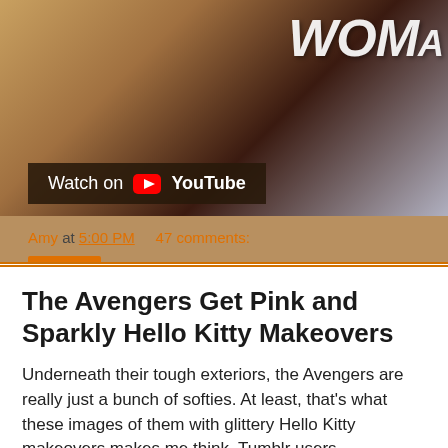[Figure (screenshot): YouTube video thumbnail showing a person with text 'WOM' visible on the right side, with a dark overlay bar showing 'Watch on YouTube']
Amy at 5:00 PM   47 comments:
Share
The Avengers Get Pink and Sparkly Hello Kitty Makeovers
Underneath their tough exteriors, the Avengers are really just a bunch of softies. At least, that's what these images of them with glittery Hello Kitty makeovers makes me think. Tumblr users Dreamstore, Leeeeeeeeeegoooooooooolaaaaaaaas, and Nerdwegian applied their Photoshop skills to pictures of Captain America, Hawkeye, Iron Man, and Thor and dressed